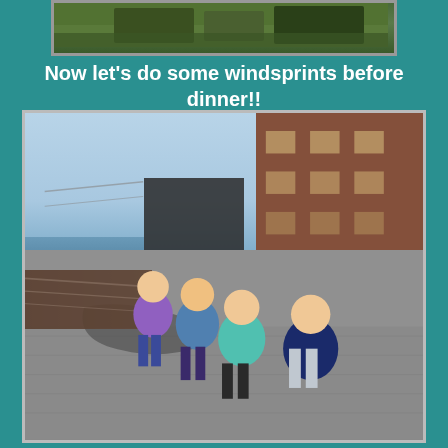[Figure (photo): Partial photo at top of page, cropped, showing outdoor greenery scene]
Now let's do some windsprints before dinner!!
[Figure (photo): Children running on a waterfront promenade with hexagonal paving stones, brick buildings and a bridge visible in the background, Brooklyn Bridge Park area, New York City]